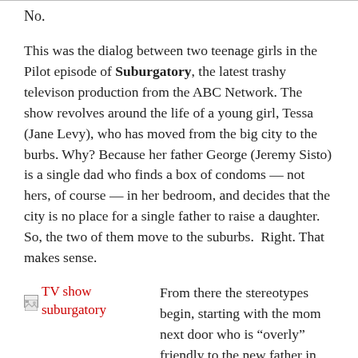No.
This was the dialog between two teenage girls in the Pilot episode of Suburgatory, the latest trashy televison production from the ABC Network. The show revolves around the life of a young girl, Tessa (Jane Levy), who has moved from the big city to the burbs. Why? Because her father George (Jeremy Sisto) is a single dad who finds a box of condoms — not hers, of course — in her bedroom, and decides that the city is no place for a single father to raise a daughter. So, the two of them move to the suburbs.  Right. That makes sense.
[Figure (photo): Image placeholder for TV show suburgatory with red link text below]
From there the stereotypes begin, starting with the mom next door who is “overly” friendly to the new father in town. This despite the fact that the mom, portrayed as a dumb blond who has had more than her fair share of plastic surgery, is